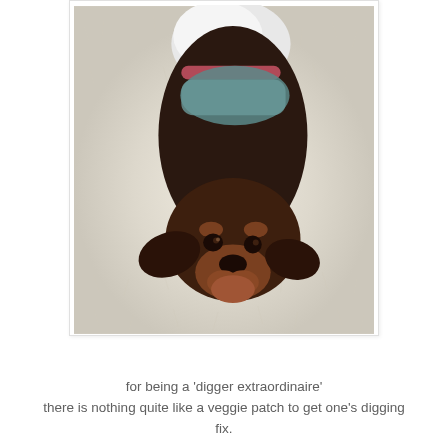[Figure (photo): A dachshund dog wearing a striped harness/vest, lying on a fluffy cream-colored round dog bed, viewed from above. The dog is dark brown/chocolate colored with tan markings and floppy ears, looking up at the camera.]
for being a 'digger extraordinaire'
there is nothing quite like a veggie patch to get one's digging fix.